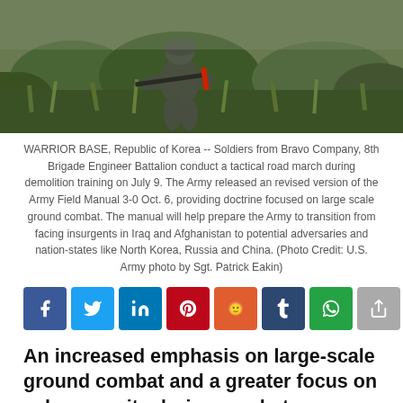[Figure (photo): A soldier in camouflage gear with a rifle moving through dense green vegetation/grass in a field setting]
WARRIOR BASE, Republic of Korea -- Soldiers from Bravo Company, 8th Brigade Engineer Battalion conduct a tactical road march during demolition training on July 9. The Army released an revised version of the Army Field Manual 3-0 Oct. 6, providing doctrine focused on large scale ground combat. The manual will help prepare the Army to transition from facing insurgents in Iraq and Afghanistan to potential adversaries and nation-states like North Korea, Russia and China. (Photo Credit: U.S. Army photo by Sgt. Patrick Eakin)
An increased emphasis on large-scale ground combat and a greater focus on cybersecurity during combat operations are among key changes in the Army’s updated Field Manual 3-0, Operations, released today.